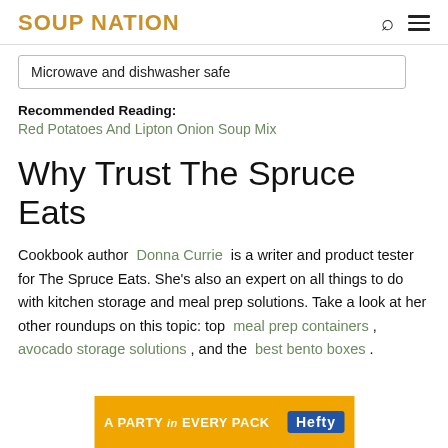SOUP NATION
Microwave and dishwasher safe
Recommended Reading: Red Potatoes And Lipton Onion Soup Mix
Why Trust The Spruce Eats
Cookbook author Donna Currie is a writer and product tester for The Spruce Eats. She's also an expert on all things to do with kitchen storage and meal prep solutions. Take a look at her other roundups on this topic: top meal prep containers , avocado storage solutions , and the best bento boxes .
[Figure (infographic): Orange advertisement banner: A PARTY in EVERY PACK with Hefty logo]